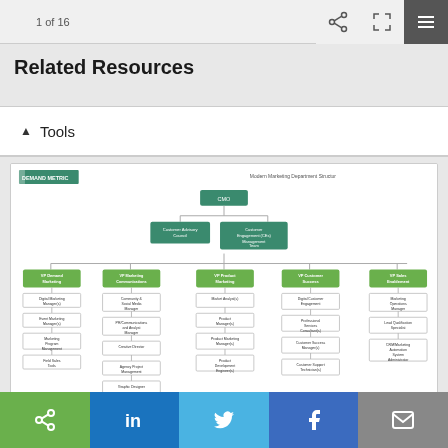1 of 16
Related Resources
^ Tools
[Figure (organizational-chart): Demand Metric Modern Marketing Department Structure org chart showing CMO at top, branching to Customer Advisory Council and Customer Engagement (CEs) Management Team, then to 5 VP roles: VP Demand Marketing, VP Marketing Communications, VP Product Marketing, VP Customer Success, VP Sales Enablement, each with subordinate roles listed below.]
Share icons: share, LinkedIn, Twitter, Facebook, email